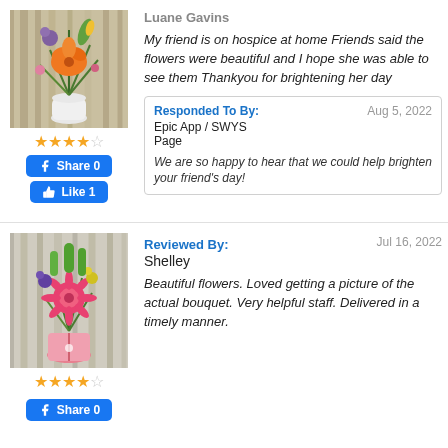[Figure (photo): Photo of a floral arrangement with orange lily, tropical flowers in a white vase]
★★★★☆
Share 0 (Facebook button)
Like 1 (Facebook button)
Luane Gavins
My friend is on hospice at home Friends said the flowers were beautiful and I hope she was able to see them Thankyou for brightening her day
Responded To By: Aug 5, 2022
Epic App / SWYS
Page
We are so happy to hear that we could help brighten your friend's day!
[Figure (photo): Photo of a colorful floral bouquet with pink gerbera daisies, purple flowers, yellow blooms in a pink-ribbon vase]
★★★★☆
Share 0 (Facebook button)
Reviewed By: Jul 16, 2022
Shelley
Beautiful flowers. Loved getting a picture of the actual bouquet. Very helpful staff. Delivered in a timely manner.